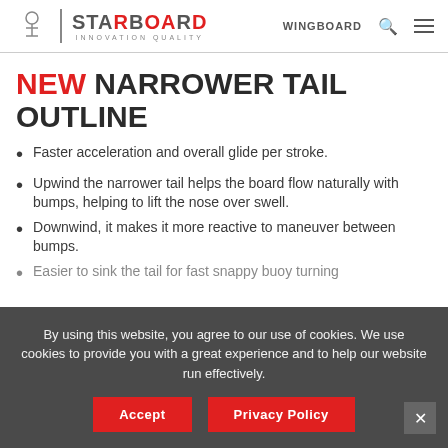STARBOARD INNOVATION QUALITY | WINGBOARD
NEW NARROWER TAIL OUTLINE
Faster acceleration and overall glide per stroke.
Upwind the narrower tail helps the board flow naturally with bumps, helping to lift the nose over swell.
Downwind, it makes it more reactive to maneuver between bumps.
Easier to sink the tail for fast snappy buoy turning
By using this website, you agree to our use of cookies. We use cookies to provide you with a great experience and to help our website run effectively.